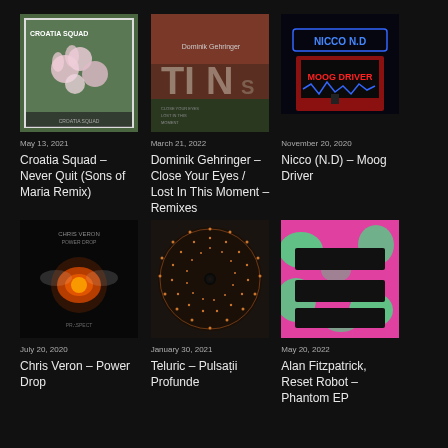[Figure (photo): Croatia Squad album art – flowers on green/grey background with white border]
May 13, 2021
Croatia Squad – Never Quit (Sons of Maria Remix)
[Figure (photo): Dominik Gehringer album art – dark red/brown abstract typography]
March 21, 2022
Dominik Gehringer – Close Your Eyes / Lost In This Moment – Remixes
[Figure (photo): Nicco N.D album art – neon sign NICCO N.D and MOOG DRIVER on dark background]
November 20, 2020
Nicco (N.D) – Moog Driver
[Figure (photo): Chris Veron album art – glowing insect/fly on black background with PROSPECT label]
July 20, 2020
Chris Veron – Power Drop
[Figure (photo): Teluric album art – circular vinyl record with dot pattern on dark background]
January 30, 2021
Teluric – Pulsații Profunde
[Figure (photo): Alan Fitzpatrick Reset Robot album art – pink/green abstract pattern with black bars]
May 20, 2022
Alan Fitzpatrick, Reset Robot – Phantom EP